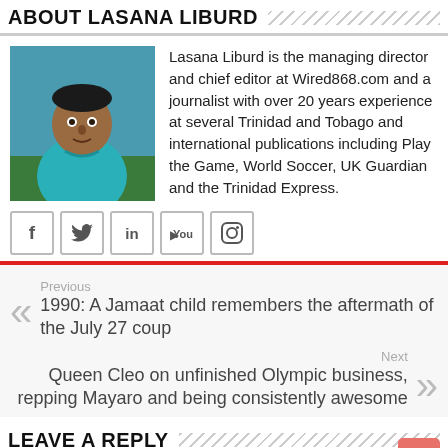ABOUT LASANA LIBURD
[Figure (photo): Headshot photo of Lasana Liburd, a man in a teal shirt]
Lasana Liburd is the managing director and chief editor at Wired868.com and a journalist with over 20 years experience at several Trinidad and Tobago and international publications including Play the Game, World Soccer, UK Guardian and the Trinidad Express.
[Figure (infographic): Social media icons: Facebook, Twitter, LinkedIn, YouTube, Instagram]
Previous
1990: A Jamaat child remembers the aftermath of the July 27 coup
Next
Queen Cleo on unfinished Olympic business, repping Mayaro and being consistently awesome
LEAVE A REPLY